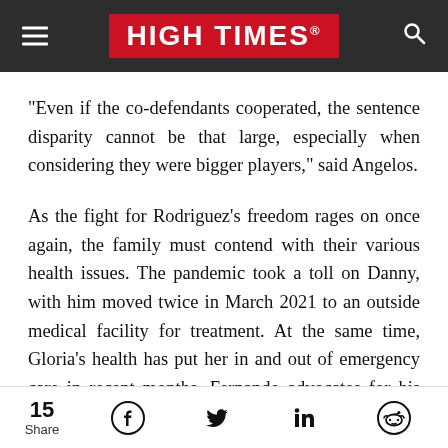HIGH TIMES
“Even if the co-defendants cooperated, the sentence disparity cannot be that large, especially when considering they were bigger players,” said Angelos.
As the fight for Rodriguez’s freedom rages on once again, the family must contend with their various health issues. The pandemic took a toll on Danny, with him moved twice in March 2021 to an outside medical facility for treatment. At the same time, Gloria’s health has put her in and out of emergency care in recent months. Fernando advocates for his son’s release
15 Share  [Facebook] [Twitter] [LinkedIn] [Reddit]